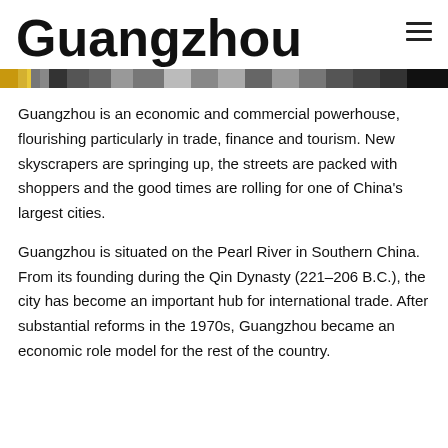Guangzhou
[Figure (photo): Horizontal image strip showing a cityscape or street scene of Guangzhou with various colors and textures]
Guangzhou is an economic and commercial powerhouse, flourishing particularly in trade, finance and tourism. New skyscrapers are springing up, the streets are packed with shoppers and the good times are rolling for one of China's largest cities.
Guangzhou is situated on the Pearl River in Southern China. From its founding during the Qin Dynasty (221–206 B.C.), the city has become an important hub for international trade. After substantial reforms in the 1970s, Guangzhou became an economic role model for the rest of the country.